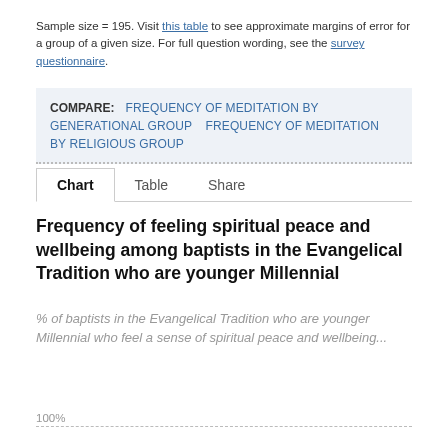Sample size = 195. Visit this table to see approximate margins of error for a group of a given size. For full question wording, see the survey questionnaire.
COMPARE: FREQUENCY OF MEDITATION BY GENERATIONAL GROUP  FREQUENCY OF MEDITATION BY RELIGIOUS GROUP
Chart  Table  Share
Frequency of feeling spiritual peace and wellbeing among baptists in the Evangelical Tradition who are younger Millennial
% of baptists in the Evangelical Tradition who are younger Millennial who feel a sense of spiritual peace and wellbeing...
100%